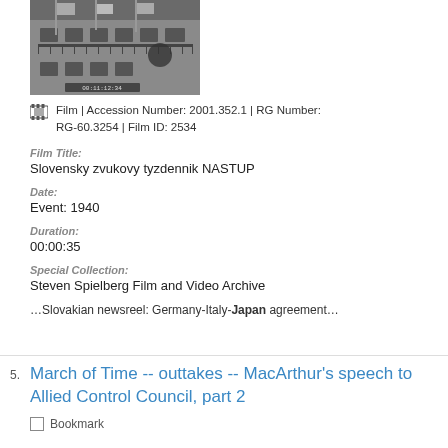[Figure (photo): Grayscale thumbnail of a building with flags on a balcony, film still]
Film | Accession Number: 2001.352.1 | RG Number: RG-60.3254 | Film ID: 2534
Film Title:
Slovensky zvukovy tyzdennik NASTUP
Date:
Event: 1940
Duration:
00:00:35
Special Collection:
Steven Spielberg Film and Video Archive
…Slovakian newsreel: Germany-Italy-Japan agreement…
March of Time -- outtakes -- MacArthur's speech to Allied Control Council, part 2
Bookmark